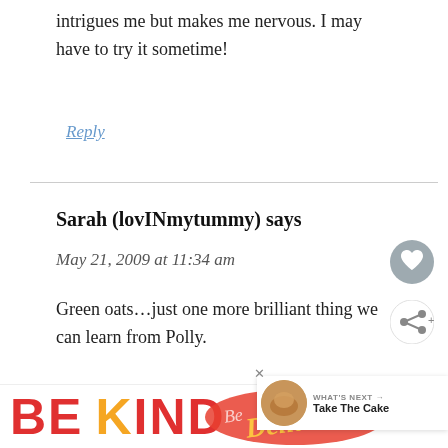intrigues me but makes me nervous. I may have to try it sometime!
Reply
Sarah (lovINmytummy) says
May 21, 2009 at 11:34 am
Green oats…just one more brilliant thing we can learn from Polly.
Reply
[Figure (infographic): BE KIND advertisement banner with decorative script overlay, close button, and TM symbol]
[Figure (infographic): WHAT'S NEXT widget showing a food image and text 'Take The Cake']
[Figure (infographic): Heart icon button (grey circle) for liking]
[Figure (infographic): Share icon button (white circle with share symbol)]